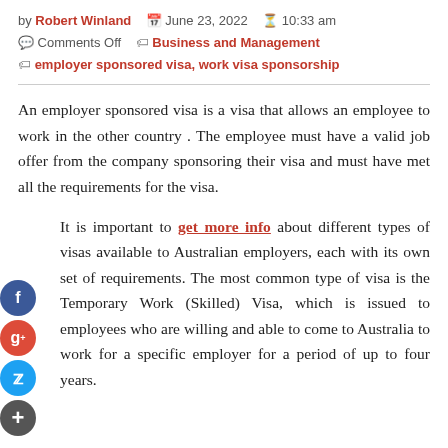by Robert Winland   June 23, 2022   10:33 am
Comments Off   Business and Management
employer sponsored visa, work visa sponsorship
An employer sponsored visa is a visa that allows an employee to work in the other country . The employee must have a valid job offer from the company sponsoring their visa and must have met all the requirements for the visa.
It is important to get more info about different types of visas available to Australian employers, each with its own set of requirements. The most common type of visa is the Temporary Work (Skilled) Visa, which is issued to employees who are willing and able to come to Australia to work for a specific employer for a period of up to four years.